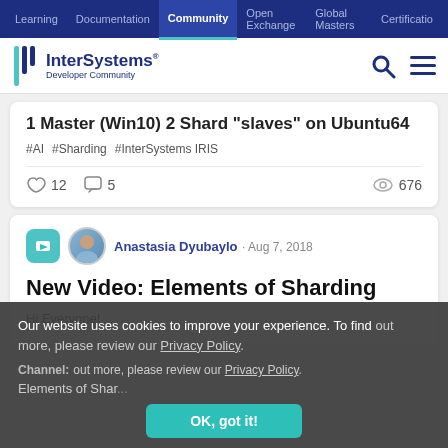Learning | Documentation | Community | Open Exchange | Global Masters | Certification
[Figure (logo): InterSystems Developer Community logo with teal bracket icon]
1 Master (Win10) 2 Shard "slaves" on Ubuntu64
#AI #Sharding #InterSystems IRIS
👍 12   💬 5   👁 676
Anastasia Dyubaylo · Aug 7, 2018
New Video: Elements of Sharding
Hi Everyone!
Our website uses cookies to improve your experience. To find out more, please review our Privacy Policy.
Channel: Elements of Shar...
OK, got it!